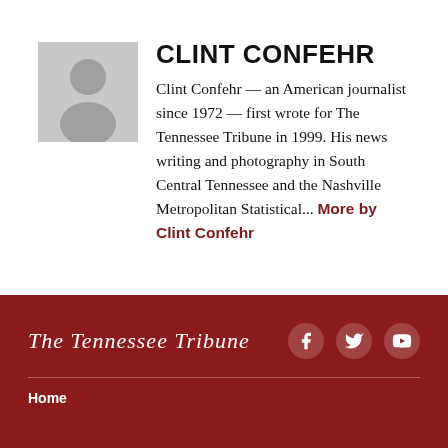[Figure (photo): Gray placeholder avatar/silhouette icon of a person (head and shoulders) on a light gray background]
CLINT CONFEHR
Clint Confehr — an American journalist since 1972 — first wrote for The Tennessee Tribune in 1999. His news writing and photography in South Central Tennessee and the Nashville Metropolitan Statistical... More by Clint Confehr
The Tennessee Tribune
Home